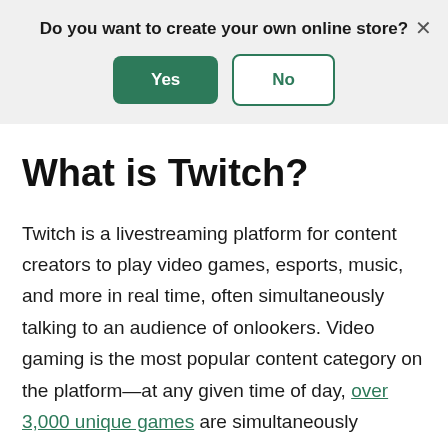Do you want to create your own online store?
Yes
No
What is Twitch?
Twitch is a livestreaming platform for content creators to play video games, esports, music, and more in real time, often simultaneously talking to an audience of onlookers. Video gaming is the most popular content category on the platform—at any given time of day, over 3,000 unique games are simultaneously